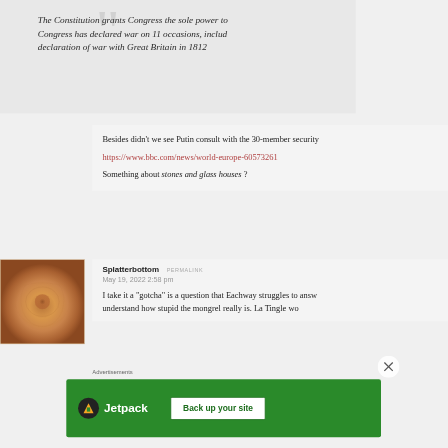The Constitution grants Congress the sole power to... Congress has declared war on 11 occasions, includ... declaration of war with Great Britain in 1812
Besides didn't we see Putin consult with the 30-member security...
https://www.bbc.com/news/world-europe-60573261
Something about stones and glass houses ?
[Figure (photo): Square avatar image showing a close-up of what appears to be textured skin or natural material in orange/golden tones]
Splatterbottom PERMALINK
May 19, 2022 2:58 pm
I take it a "gotcha" is a question that Eachway struggles to answ... understand how stupid the mongrel really is. La Tingle wo...
Advertisements
[Figure (screenshot): Jetpack advertisement banner with green background showing Jetpack logo and 'Back up your site' button]